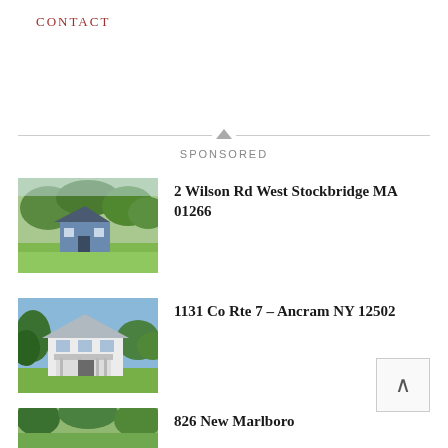Contact
Sponsored
[Figure (photo): Photo of a house at 2 Wilson Rd West Stockbridge MA 01266, showing a small blue house on green lawn with trees in background]
2 Wilson Rd West Stockbridge MA 01266
[Figure (photo): Photo of a white colonial farmhouse at 1131 Co Rte 7, Ancram NY 12502, surrounded by green lawn and trees]
1131 Co Rte 7 – Ancram NY 12502
[Figure (photo): Photo of a property at 826 New Marlboro, partially visible at bottom of page, showing trees and greenery]